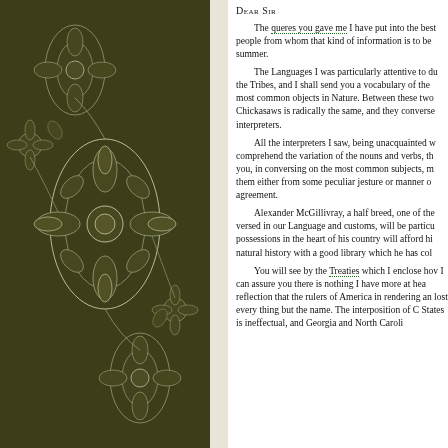[Figure (illustration): Decorative dark olive/green floral paisley border pattern on the left side of the page, with a narrow cream/tan vertical strip separating it from the text area.]
Dear Sir

The queres you gave me I have put into the best people from whom that kind of information is to be summer.

The Languages I was particularly attentive to du the Tribes, and I shall send you a vocabulary of the most common objects in Nature. Between these two Chickasaws is radically the same, and they converse interpreters.

All the interpreters I saw, being unacquainted w comprehend the variation of the nouns and verbs, th you, in conversing on the most common subjects, m them either from some peculiar jesture or manner o agreement.

Alexander McGillivray, a half breed, one of the versed in our Language and customs, will be particu possessions in the heart of his country will afford hi natural history with a good library which he has col

You will see by the Treaties which I enclose hov I can assure you there is nothing I have more at hea reflection that the rulers of America in rendering an lost every thing but the name. The interposition of C States is ineffectual, and Georgia and North Caroli